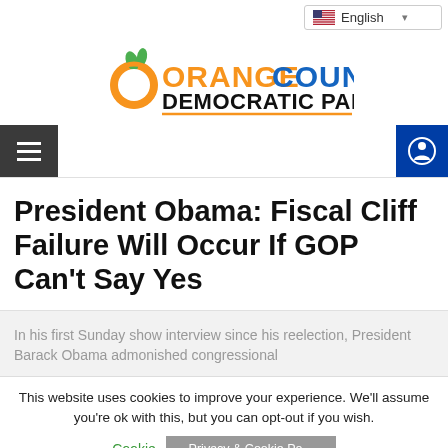[Figure (logo): Orange County Democratic Party logo with orange fruit icon and green leaves, 'ORANGE' in orange color, 'COUNTY' in blue color, 'DEMOCRATIC PARTY' in black bold text, underlined in orange]
President Obama: Fiscal Cliff Failure Will Occur If GOP Can't Say Yes
In his first Sunday show interview since his reelection, President Barack Obama admonished congressional
This website uses cookies to improve your experience. We'll assume you're ok with this, but you can opt-out if you wish.